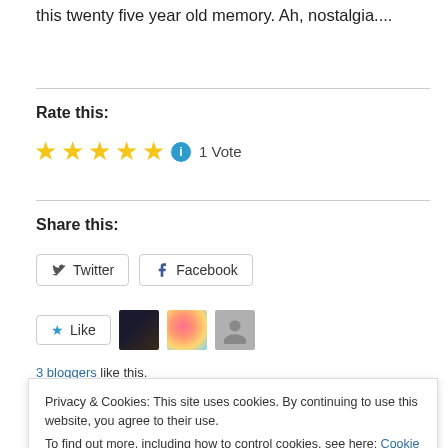this twenty five year old memory. Ah, nostalgia....
Rate this:
★★★★★ ℹ 1 Vote
Share this:
Twitter  Facebook
Like  [avatars]  3 bloggers like this.
Privacy & Cookies: This site uses cookies. By continuing to use this website, you agree to their use. To find out more, including how to control cookies, see here: Cookie Policy
Close and accept